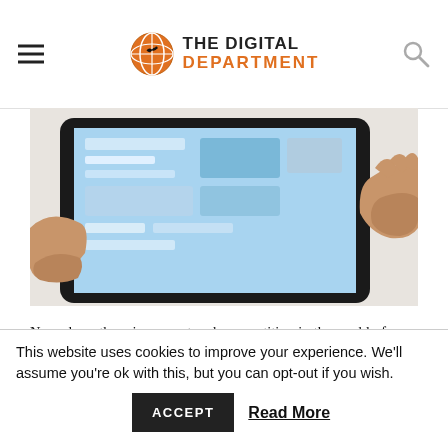THE DIGITAL DEPARTMENT
[Figure (photo): Hands holding a tablet device displaying a website or app interface with blue tones]
Nowadays, there is a very tough competition in the world of online marketing. You need to present your users something beyond the expectations to attract and engage them on you
This website uses cookies to improve your experience. We'll assume you're ok with this, but you can opt-out if you wish. ACCEPT  Read More